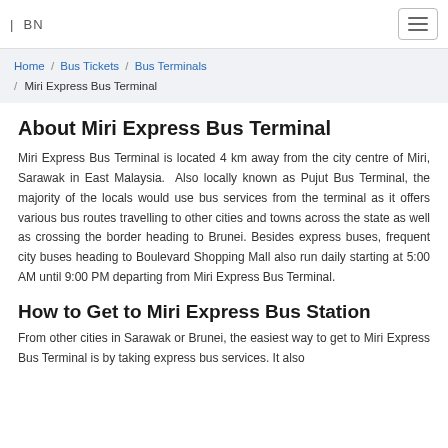| BN
Home / Bus Tickets / Bus Terminals / Miri Express Bus Terminal
About Miri Express Bus Terminal
Miri Express Bus Terminal is located 4 km away from the city centre of Miri, Sarawak in East Malaysia. Also locally known as Pujut Bus Terminal, the majority of the locals would use bus services from the terminal as it offers various bus routes travelling to other cities and towns across the state as well as crossing the border heading to Brunei. Besides express buses, frequent city buses heading to Boulevard Shopping Mall also run daily starting at 5:00 AM until 9:00 PM departing from Miri Express Bus Terminal.
How to Get to Miri Express Bus Station
From other cities in Sarawak or Brunei, the easiest way to get to Miri Express Bus Terminal is by taking express bus services. It also